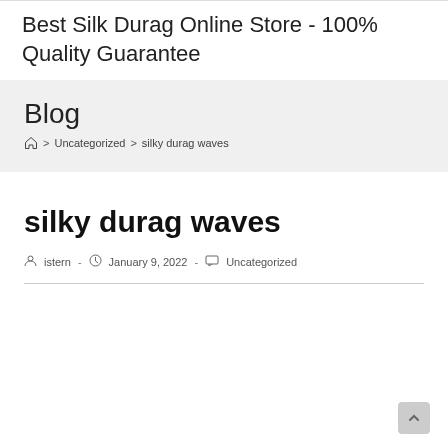Best Silk Durag Online Store - 100% Quality Guarantee
Blog
Home > Uncategorized > silky durag waves
silky durag waves
istern - January 9, 2022 - Uncategorized